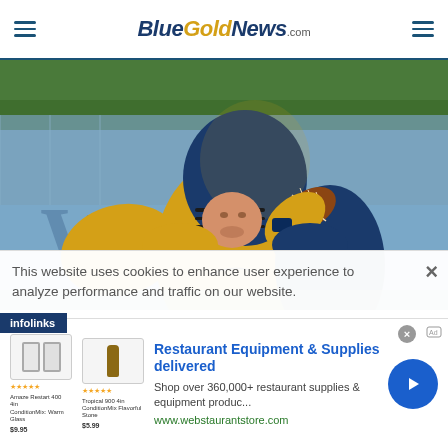BlueGoldNews.com
[Figure (photo): Football player in gold and navy uniform throwing a football during practice, wearing a gold helmet with navy facemask, chain-link fence in background]
This website uses cookies to enhance user experience to analyze performance and traffic on our website.
[Figure (infographic): Infolinks advertisement label]
[Figure (infographic): Advertisement: Restaurant Equipment & Supplies delivered. Shop over 360,000+ restaurant supplies & equipment produc... www.webstaurantstore.com]